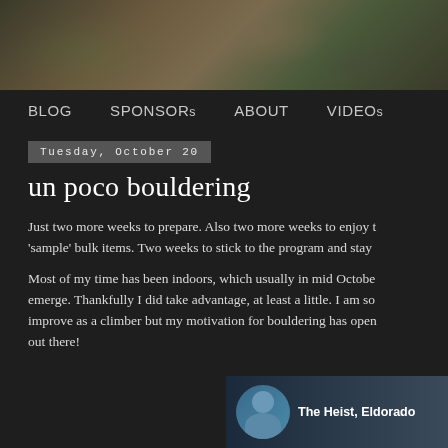[Figure (photo): Rock face / boulder photo at the top of the page]
BLOG   SPONSORs   ABOUT   VIDEOs
Tuesday, October 20
un poco bouldering
Just two more weeks to prepare. Also two more weeks to enjoy 'sample' bulk items. Two weeks to stick to the program and stay
Most of my time has been indoors, which usually in mid October emerge. Thankfully I did take advantage, at least a little. I am so improve as a climber but my motivation for bouldering has open out there!
[Figure (screenshot): Video thumbnail showing 'The Heist, Eldorado' with a person in a blue jacket and circular avatar]